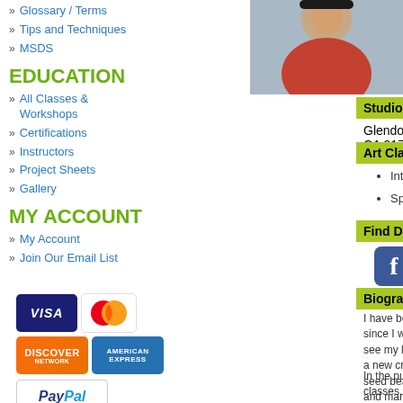Glossary / Terms
Tips and Techniques
MSDS
EDUCATION
All Classes & Workshops
Certifications
Instructors
Project Sheets
Gallery
MY ACCOUNT
My Account
Join Our Email List
[Figure (photo): Photo of Despina, cropped at top]
Studio:
Glendora, CA 91741
Art Clay Classes Offered:
Introductory
Specialty
Find Despina on Social Media:
[Figure (logo): Facebook icon button]
Biography:
I have been intrigued with jewelry making since I w... classmates were always excited to see my latest c... progression for me to pursue a new creative outle... projects utilizing colorful seed beads, Czech glass... with metals, mixing and manipulating them, and m...
In the pursuit of advancing my skills, I take classes... components, and not use pendants and findings th... already envision the multitude of possibilities! I kn... in my area. After I took my first class I was hooked... changing medium. And now, I get to share my kno...
[Figure (logo): Payment card logos: VISA, MasterCard, Discover, American Express, PayPal]